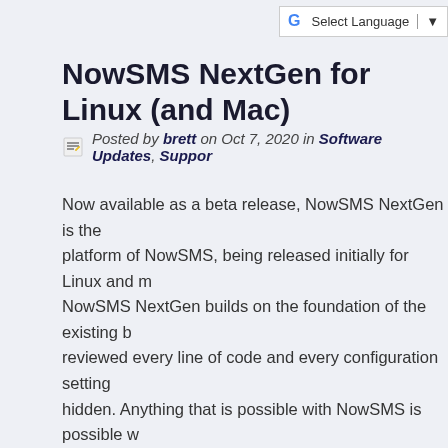G Select Language | ▼
NowSMS NextGen for Linux (and Mac)
Posted by brett on Oct 7, 2020 in Software Updates, Support
Now available as a beta release, NowSMS NextGen is the platform of NowSMS, being released initially for Linux and m... NowSMS NextGen builds on the foundation of the existing b... reviewed every line of code and every configuration setting... hidden. Anything that is possible with NowSMS is possible w... NextGen. Initially,...